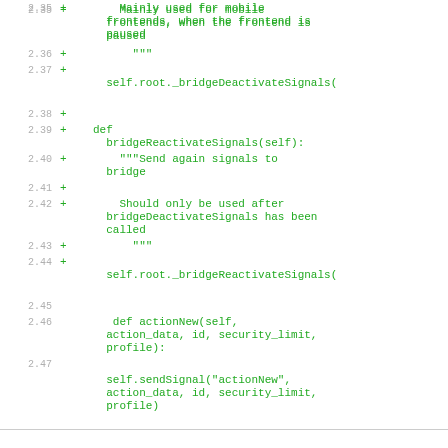2.35 +        Mainly used for mobile frontends, when the frontend is paused
2.36 +        """
2.37 +        self.root._bridgeDeactivateSignals(
2.38 +
2.39 +    def bridgeReactivateSignals(self):
2.40 +        """Send again signals to bridge
2.41 +
2.42 +        Should only be used after bridgeDeactivateSignals has been called
2.43 +        """
2.44 +        self.root._bridgeReactivateSignals(
2.45
2.46         def actionNew(self, action_data, id, security_limit, profile):
2.47         self.sendSignal("actionNew", action_data, id, security_limit, profile)